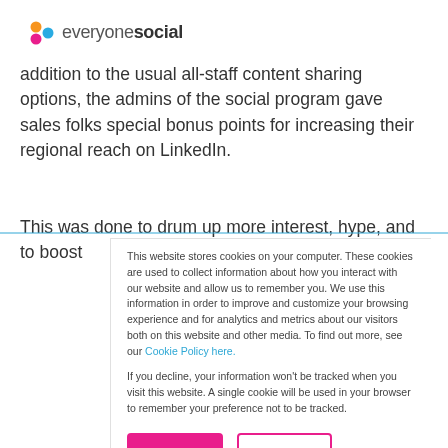everyonesocial
addition to the usual all-staff content sharing options, the admins of the social program gave sales folks special bonus points for increasing their regional reach on LinkedIn.
This was done to drum up more interest, hype, and to boost
This website stores cookies on your computer. These cookies are used to collect information about how you interact with our website and allow us to remember you. We use this information in order to improve and customize your browsing experience and for analytics and metrics about our visitors both on this website and other media. To find out more, see our Cookie Policy here.
If you decline, your information won't be tracked when you visit this website. A single cookie will be used in your browser to remember your preference not to be tracked.
Accept
Decline